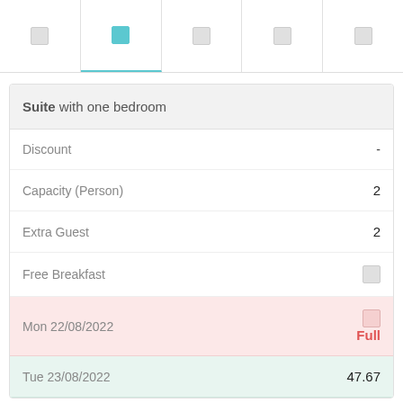[Figure (screenshot): Top navigation tab bar with 5 icon tabs, second tab highlighted in teal/cyan color]
| Field | Value |
| --- | --- |
| Suite with one bedroom |  |
| Discount | - |
| Capacity (Person) | 2 |
| Extra Guest | 2 |
| Free Breakfast | ☐ |
| Mon 22/08/2022 | Full |
| Tue 23/08/2022 | 47.67 |